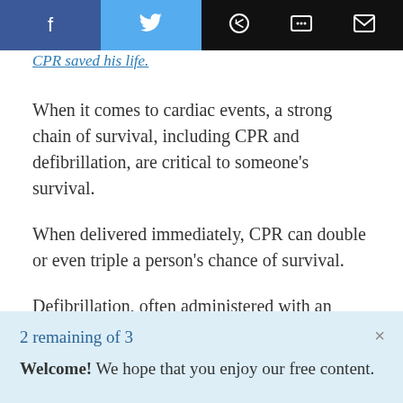Share icons: Facebook, Twitter, WhatsApp, Chat, Email
CPR saved his life.
When it comes to cardiac events, a strong chain of survival, including CPR and defibrillation, are critical to someone's survival.
When delivered immediately, CPR can double or even triple a person's chance of survival.
Defibrillation, often administered with an AED is an
2 remaining of 3
Welcome! We hope that you enjoy our free content.